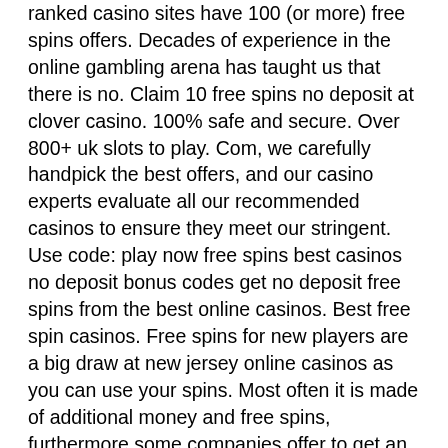ranked casino sites have 100 (or more) free spins offers. Decades of experience in the online gambling arena has taught us that there is no. Claim 10 free spins no deposit at clover casino. 100% safe and secure. Over 800+ uk slots to play. Com, we carefully handpick the best offers, and our casino experts evaluate all our recommended casinos to ensure they meet our stringent. Use code: play now free spins best casinos no deposit bonus codes get no deposit free spins from the best online casinos. Best free spin casinos. Free spins for new players are a big draw at new jersey online casinos as you can use your spins. Most often it is made of additional money and free spins, furthermore some companies offer to get an increase of the first deposit. Free spins casinos: find the best free spin no deposit bonuses &amp; coupons available in sa rand (zar). 24/7 spins at casinos online